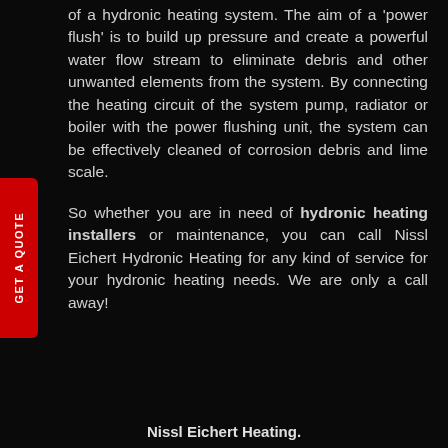of a hydronic heating system. The aim of a 'power flush' is to build up pressure and create a powerful water flow stream to eliminate debris and other unwanted elements from the system. By connecting the heating circuit of the system pump, radiator or boiler with the power flushing unit, the system can be effectively cleaned of corrosion debris and lime scale.
So whether you are in need of hydronic heating installers or maintenance, you can call Nissl Eichert Hydronic Heating for any kind of service for your hydronic heating needs. We are only a call away!
Nissl Eichert Heating.